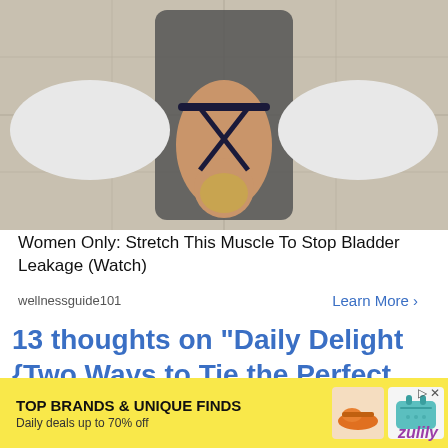[Figure (photo): Woman lying face down on a yoga mat in a child's pose or similar stretch, wearing a strappy criss-cross back sports top, viewed from above. White foam bolsters on either side.]
Women Only: Stretch This Muscle To Stop Bladder Leakage (Watch)
wellnessguide101    Learn More >
13 thoughts on “Daily Delight {Two Ways to Tie the Perfect Bow}”
[Figure (photo): Grey circular avatar / placeholder user icon]
Chris
[Figure (infographic): Yellow banner ad: TOP BRANDS & UNIQUE FINDS, Daily deals up to 70% off, Zulily brand logo, with images of a shoe and a teal handbag]